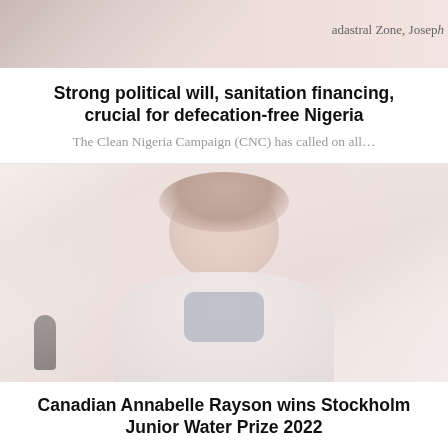[Figure (photo): Partial photo at top of page showing people with text 'adastral Zone, Joseph' visible at right]
Strong political will, sanitation financing, crucial for defecation-free Nigeria
The Clean Nigeria Campaign (CNC) has called on all…
[Figure (photo): Photo of a smiling young woman with light brown hair wearing a white lab coat, sitting with a microphone visible at lower left]
Canadian Annabelle Rayson wins Stockholm Junior Water Prize 2022
Annabelle M. Rayson from Canada receives the prestigious…